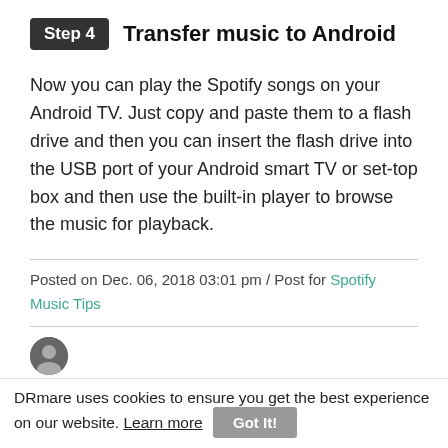Step 4   Transfer music to Android
Now you can play the Spotify songs on your Android TV. Just copy and paste them to a flash drive and then you can insert the flash drive into the USB port of your Android smart TV or set-top box and then use the built-in player to browse the music for playback.
Posted on Dec. 06, 2018 03:01 pm / Post for Spotify Music Tips
DRmare uses cookies to ensure you get the best experience on our website. Learn more   Got It!